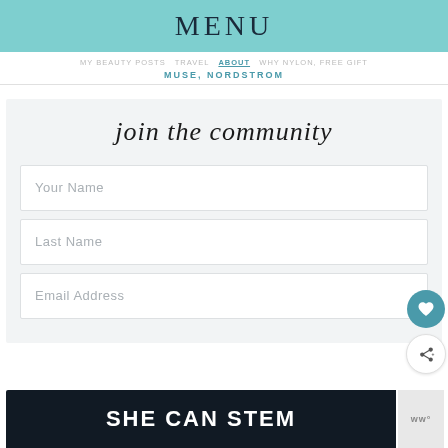MENU
MUSE, NORDSTROM
join the community
Your Name
Last Name
Email Address
SHE CAN STEM